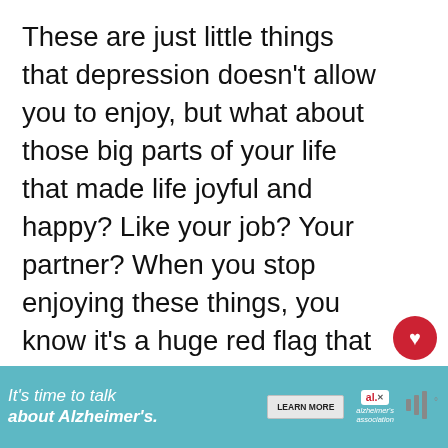These are just little things that depression doesn't allow you to enjoy, but what about those big parts of your life that made life joyful and happy? Like your job? Your partner? When you stop enjoying these things, you know it's a huge red flag that your mind isn't healthy anymore.
[Figure (infographic): Red circular like/heart button icon with count of 48 below it, and a share button below that]
[Figure (infographic): What's Next arrow label with thumbnail image and text 'Inside The Mind Of A Gi...']
[Figure (infographic): Alzheimer's Association advertisement banner - teal background with text 'It's time to talk about Alzheimer's.' and LEARN MORE button]